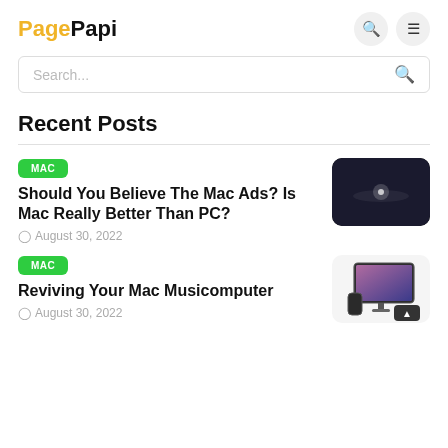PagePapi
Search...
Recent Posts
MAC
Should You Believe The Mac Ads? Is Mac Really Better Than PC?
August 30, 2022
MAC
Reviving Your Mac Musicomputer
August 30, 2022